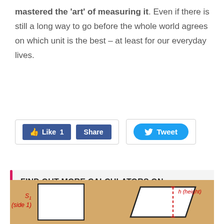mastered the 'art' of measuring it. Even if there is still a long way to go before the whole world agrees on which unit is the best – at least for our everyday lives.
[Figure (screenshot): Facebook Like 1 and Share buttons, and a Twitter Tweet button displayed as social sharing widgets]
FIND OUT MORE CALCULATORS ON CONVERSION
[Figure (illustration): Educational math diagram showing geometric shapes: a rectangle labeled S1 (side1) on the left and a parallelogram with h (height) label on the right, on a tan/brown background]